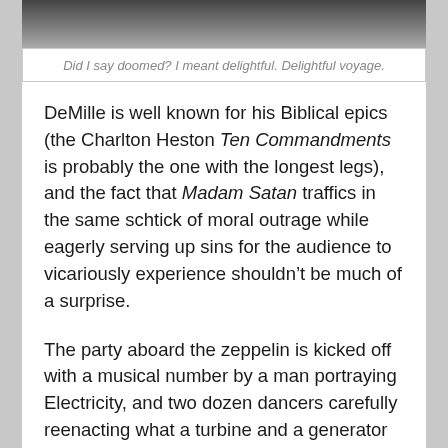[Figure (photo): Partial black and white photograph cropped at top of page]
Did I say doomed? I meant delightful. Delightful voyage.
DeMille is well known for his Biblical epics (the Charlton Heston Ten Commandments is probably the one with the longest legs), and the fact that Madam Satan traffics in the same schtick of moral outrage while eagerly serving up sins for the audience to vicariously experience shouldn’t be much of a surprise.
The party aboard the zeppelin is kicked off with a musical number by a man portraying Electricity, and two dozen dancers carefully reenacting what a turbine and a generator to a bevy of costumed and lecherous guests. This pagan ceremony in no way will be punished later in the film, obviously.